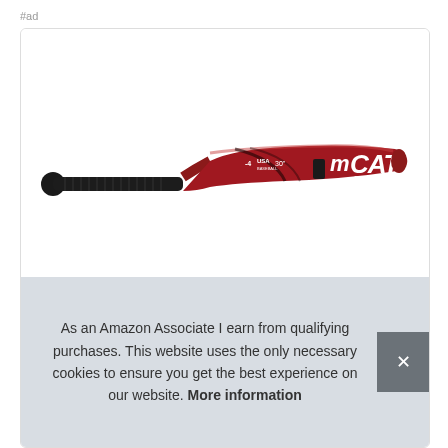#ad
[Figure (photo): Marucci CAT Connect baseball bat, red and black, USA Baseball certified, -4 drop, 30 inch, shown at a diagonal angle with the barrel on the right and knob on the lower left]
As an Amazon Associate I earn from qualifying purchases. This website uses the only necessary cookies to ensure you get the best experience on our website. More information